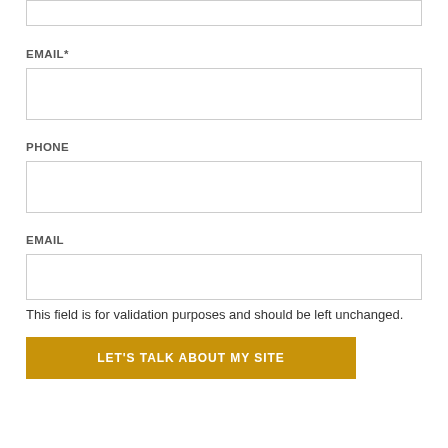[Figure (other): Empty input field at top of page (partial, cropped)]
EMAIL*
[Figure (other): Empty email input field]
PHONE
[Figure (other): Empty phone input field]
EMAIL
[Figure (other): Empty email input field (for validation)]
This field is for validation purposes and should be left unchanged.
LET'S TALK ABOUT MY SITE